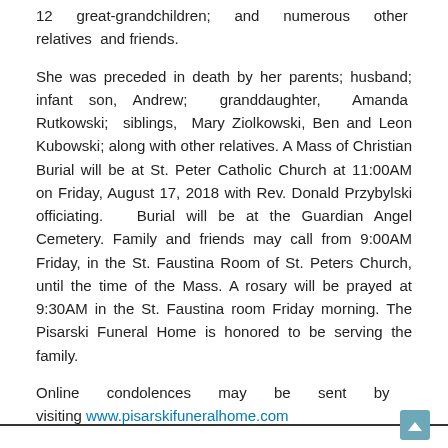12 great-grandchildren; and numerous other relatives and friends.
She was preceded in death by her parents; husband; infant son, Andrew; granddaughter, Amanda Rutkowski; siblings, Mary Ziolkowski, Ben and Leon Kubowski; along with other relatives. A Mass of Christian Burial will be at St. Peter Catholic Church at 11:00AM on Friday, August 17, 2018 with Rev. Donald Przybylski officiating.  Burial will be at the Guardian Angel Cemetery. Family and friends may call from 9:00AM Friday, in the St. Faustina Room of St. Peters Church, until the time of the Mass. A rosary will be prayed at 9:30AM in the St. Faustina room Friday morning. The Pisarski Funeral Home is honored to be serving the family.
Online condolences may be sent by visiting www.pisarskifuneralhome.com